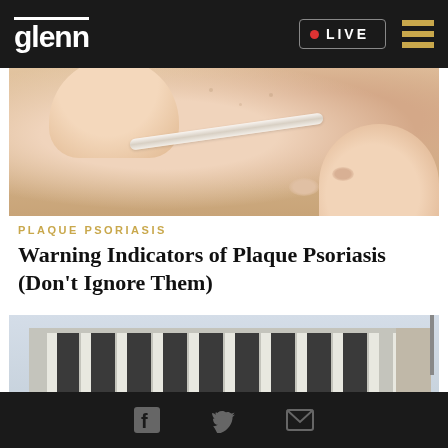glenn • LIVE
[Figure (photo): Close-up of hands/skin showing psoriasis symptoms, with a cotton swab or stick touching the skin]
PLAQUE PSORIASIS
Warning Indicators of Plaque Psoriasis (Don't Ignore Them)
[Figure (photo): Government building exterior with columns and dark grid windows, crowd visible at base]
Facebook Twitter Email icons